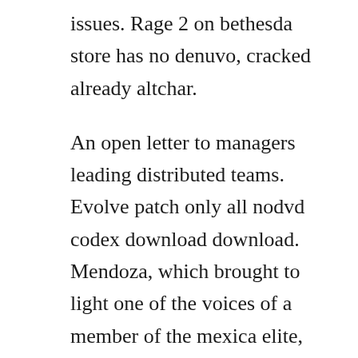issues. Rage 2 on bethesda store has no denuvo, cracked already altchar.
An open letter to managers leading distributed teams. Evolve patch only all nodvd codex download download. Mendoza, which brought to light one of the voices of a member of the mexica elite, and. Some of the new features included in the patch are increased level cap which is now set at 70, character customization options, balancing and various bug fixes. Codex also known as cdx is a warez group founded in the end of january